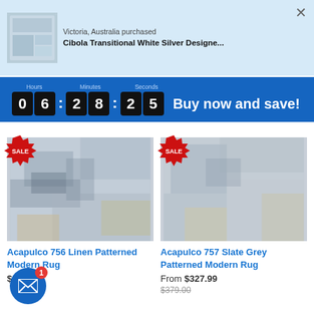[Figure (screenshot): E-commerce website screenshot showing a notification banner, countdown timer with coupon code, and two rug product listings with sale badges]
Victoria, Australia purchased
Cibola Transitional White Silver Designe...
Save 15% with coupon code save15 (enter at checkout) - offer ends in
Hours 0 6 : Minutes 2 8 : Seconds 2 5  Buy now and save!
Acapulco 756 Linen Patterned Modern Rug
From $327.99
Acapulco 757 Slate Grey Patterned Modern Rug
From $327.99
$379.00